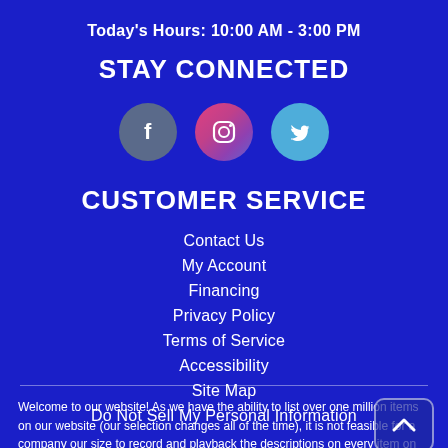Today's Hours: 10:00 AM - 3:00 PM
STAY CONNECTED
[Figure (illustration): Three social media icons: Facebook (grey circle), Instagram (gradient pink/purple circle), Twitter (light blue circle)]
CUSTOMER SERVICE
Contact Us
My Account
Financing
Privacy Policy
Terms of Service
Accessibility
Site Map
Do Not Sell My Personal Information
Welcome to our website! As we have the ability to list over one million items on our website (our selection changes all of the time), it is not feasible for a company our size to record and playback the descriptions on every item on